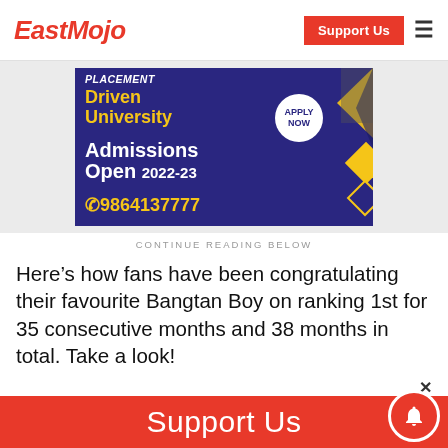EastMojo
[Figure (other): University advertisement banner: Placement Driven University, Admissions Open 2022-23, phone number 9864137777, Apply Now button]
CONTINUE READING BELOW
Here’s how fans have been congratulating their favourite Bangtan Boy on ranking 1st for 35 consecutive months and 38 months in total. Take a look!
[Figure (other): Support Us red banner at bottom of page]